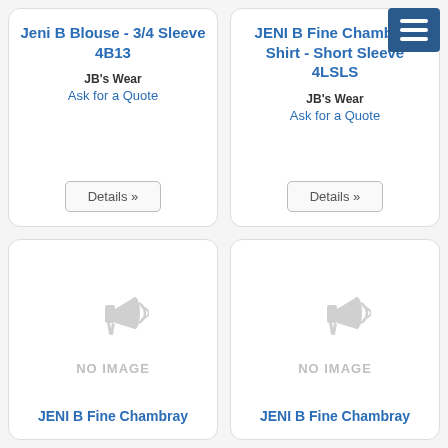[Figure (screenshot): Product card: Jeni B Blouse - 3/4 Sleeve 4B13, JB's Wear, Ask for a Quote, Details button]
[Figure (screenshot): Product card: JENI B Fine Chambray Shirt - Short Sleeve 4LSLS, JB's Wear, Ask for a Quote, Details button, with hamburger menu overlay top-right]
[Figure (screenshot): Product card: No image placeholder with megaphone icon, JENI B Fine Chambray (title cut off at bottom)]
[Figure (screenshot): Product card: No image placeholder with megaphone icon, JENI B Fine Chambray (title cut off at bottom)]